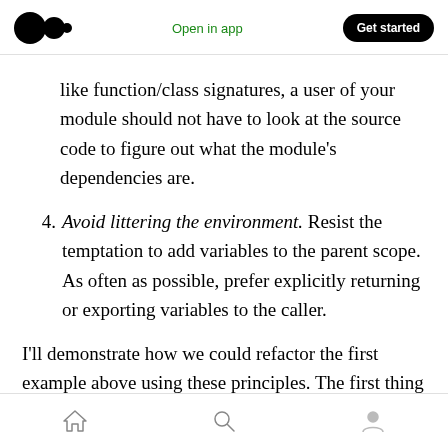Open in app | Get started
like function/class signatures, a user of your module should not have to look at the source code to figure out what the module's dependencies are.
4. Avoid littering the environment. Resist the temptation to add variables to the parent scope. As often as possible, prefer explicitly returning or exporting variables to the caller.
I'll demonstrate how we could refactor the first example above using these principles. The first thing to do is make the config file return the
Home | Search | Profile